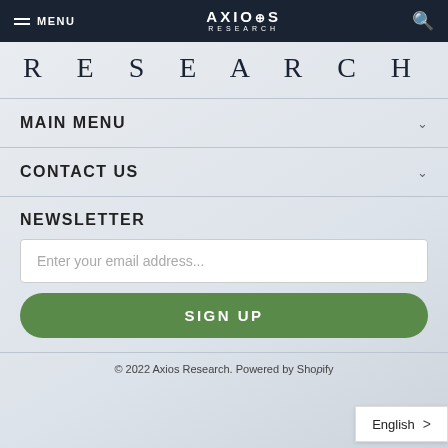MENU | AXIOS RESEARCH | (search icon)
[Figure (logo): Axios Research logo with partial circular graphic above and RESEARCH text in large spaced letters]
MAIN MENU
CONTACT US
NEWSLETTER
Enter your email address...
SIGN UP
© 2022 Axios Research. Powered by Shopify
English >